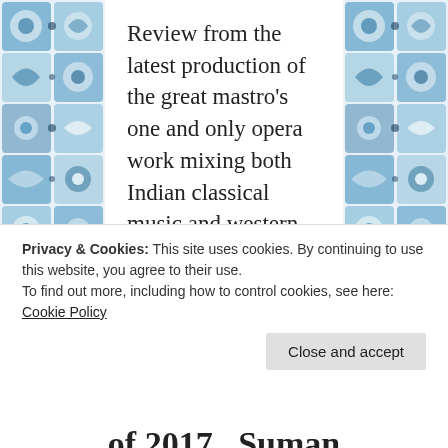[Figure (illustration): Decorative blue and white tile/mosaic pattern on left and right sides of the page]
Review from the latest production of the great mastro's one and only opera work mixing both Indian classical music and western orchestral arrangements and including dance and drama… See &…
read more →
Privacy & Cookies: This site uses cookies. By continuing to use this website, you agree to their use.
To find out more, including how to control cookies, see here: Cookie Policy
Close and accept
of 2017   Suman